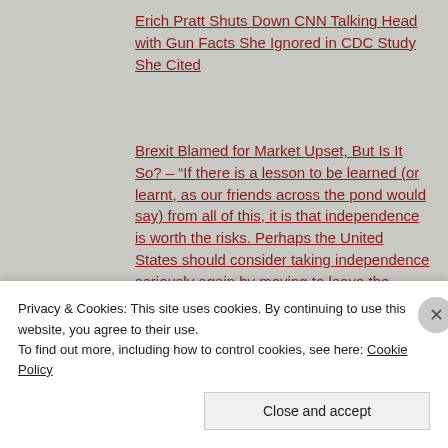Erich Pratt Shuts Down CNN Talking Head with Gun Facts She Ignored in CDC Study She Cited
Brexit Blamed for Market Upset, But Is It So? – “If there is a lesson to be learned (or learnt, as our friends across the pond would say) from all of this, it is that independence is worth the risks. Perhaps the United States should consider taking independence seriously again by moving to leave the United Nations. Brexit — as important as it is — would pale in comparison.”
Is Brexit The First Of Many Dominoes? A Few Charts
Privacy & Cookies: This site uses cookies. By continuing to use this website, you agree to their use.
To find out more, including how to control cookies, see here: Cookie Policy